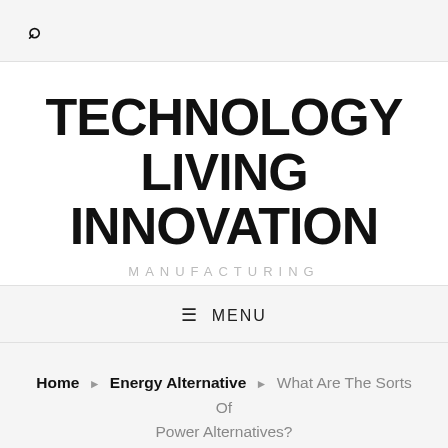🔍
TECHNOLOGY LIVING INNOVATION
MANUFACTURING
≡ MENU
Home › Energy Alternative › What Are The Sorts Of Power Alternatives?